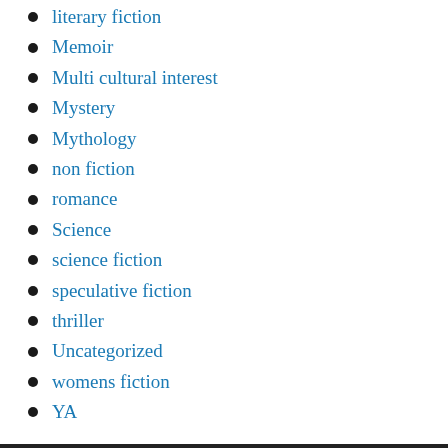literary fiction
Memoir
Multi cultural interest
Mystery
Mythology
non fiction
romance
Science
science fiction
speculative fiction
thriller
Uncategorized
womens fiction
YA